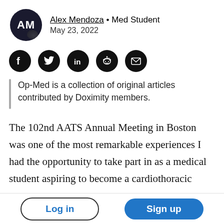Alex Mendoza • Med Student
May 23, 2022
[Figure (infographic): Row of five social sharing icon buttons: Facebook, Twitter, LinkedIn, Reddit, Email — all black circles with white icons]
Op-Med is a collection of original articles contributed by Doximity members.
The 102nd AATS Annual Meeting in Boston was one of the most remarkable experiences I had the opportunity to take part in as a medical student aspiring to become a cardiothoracic surgeon.
Log in
Sign up